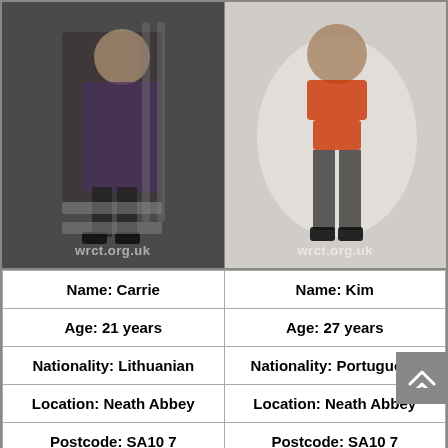[Figure (photo): Two side-by-side photos. Left: a woman with long blonde hair wearing a purple dress and dark coat, posing on steps in black high heels, with watermark 'wrct.org.uk'. Right: a woman in red lingerie and black stockings posing against a white background, with watermark 'wrct.org.uk'.]
| Name: Carrie | Name: Kim |
| Age: 21 years | Age: 27 years |
| Nationality: Lithuanian | Nationality: Portuguese |
| Location: Neath Abbey | Location: Neath Abbey |
| Postcode: SA10 7 | Postcode: SA10 7 |